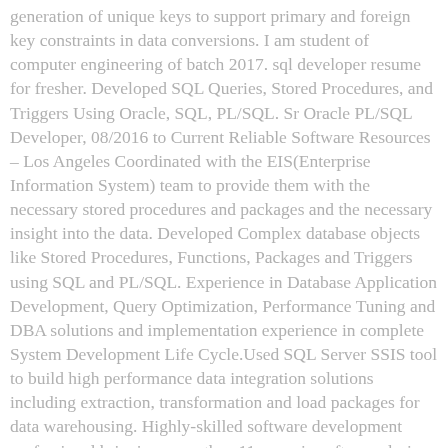generation of unique keys to support primary and foreign key constraints in data conversions. I am student of computer engineering of batch 2017. sql developer resume for fresher. Developed SQL Queries, Stored Procedures, and Triggers Using Oracle, SQL, PL/SQL. Sr Oracle PL/SQL Developer, 08/2016 to Current Reliable Software Resources – Los Angeles Coordinated with the EIS(Enterprise Information System) team to provide them with the necessary stored procedures and packages and the necessary insight into the data. Developed Complex database objects like Stored Procedures, Functions, Packages and Triggers using SQL and PL/SQL. Experience in Database Application Development, Query Optimization, Performance Tuning and DBA solutions and implementation experience in complete System Development Life Cycle.Used SQL Server SSIS tool to build high performance data integration solutions including extraction, transformation and load packages for data warehousing. Highly-skilled software development professional bringing more than 11 years in software design, development and